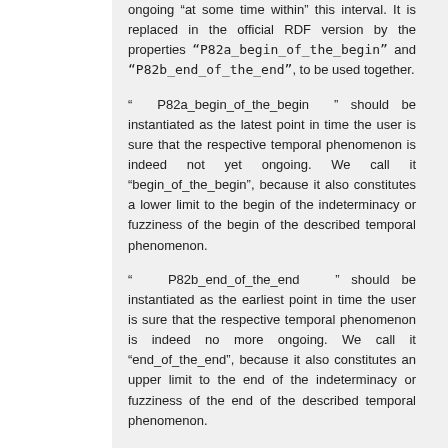ongoing "at some time within" this interval. It is replaced in the official RDF version by the properties "P82a_begin_of_the_begin" and "P82b_end_of_the_end", to be used together.
" P82a_begin_of_the_begin " should be instantiated as the latest point in time the user is sure that the respective temporal phenomenon is indeed not yet ongoing. We call it "begin_of_the_begin", because it also constitutes a lower limit to the begin of the indeterminacy or fuzziness of the begin of the described temporal phenomenon.
" P82b_end_of_the_end " should be instantiated as the earliest point in time the user is sure that the respective temporal phenomenon is indeed no more ongoing. We call it "end_of_the_end", because it also constitutes an upper limit to the end of the indeterminacy or fuzziness of the end of the described temporal phenomenon.
It is not correct to assign the same value to P82a_begin_of_the_begin                    and